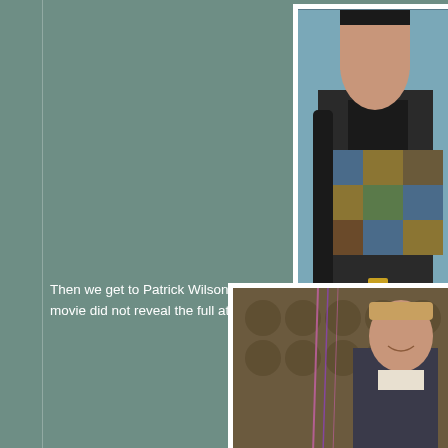[Figure (photo): Partial photo of a person in a patchwork jacket with black fur trim, with 'MovieS' watermark visible, cropped on right side]
Then we get to Patrick Wilson's performance, which movie did not reveal the full attributes of his charact
[Figure (photo): Partial photo of a man (Patrick Wilson) seated, with ornate wallpaper background and pink ribbon/streamer decorations, cropped on right side]